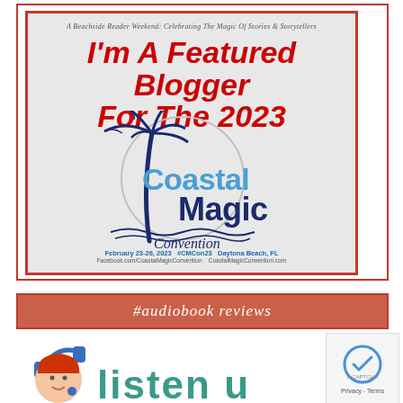[Figure (illustration): Coastal Magic Convention 2023 Featured Blogger badge. Red border frame, light gray background. Text: 'A Beachside Reader Weekend: Celebrating The Magic Of Stories & Storytellers', 'I'm A Featured Blogger For The 2023', 'Coastal Magic Convention' logo with palm tree graphic, 'February 23-26, 2023 #CMCon23 Daytona Beach, FL', 'Facebook.com/CoastalMagicConvention CoastalMagicConvention.com']
[Figure (infographic): #audiobook reviews banner in coral/red-orange color with white italic text]
[Figure (illustration): Audiobook listener logo - cartoon woman with red hair wearing headphones, partial view of 'Listen up' text in teal]